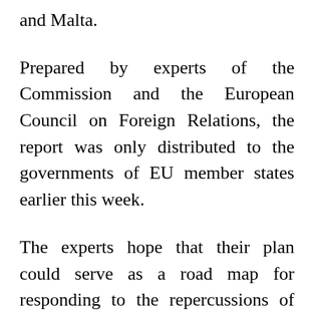and Malta.
Prepared by experts of the Commission and the European Council on Foreign Relations, the report was only distributed to the governments of EU member states earlier this week.
The experts hope that their plan could serve as a road map for responding to the repercussions of the war on countries close to the battlefronts such as Moldova, Armenia and Azerbaijan and on countries far from Ukraine